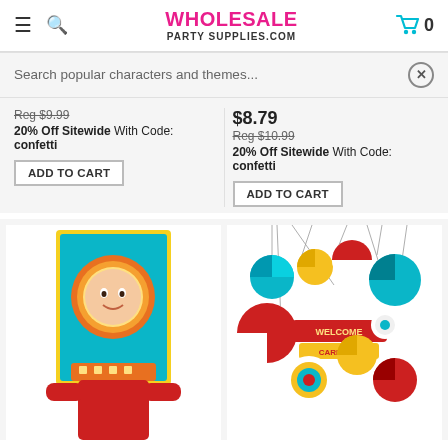WHOLESALE PARTY SUPPLIES.COM
Search popular characters and themes...
Reg $9.99
20% Off Sitewide With Code: confetti
ADD TO CART
$8.79
Reg $10.99
20% Off Sitewide With Code: confetti
ADD TO CART
[Figure (photo): Child holding a circus lion photo booth frame prop with orange mane decoration on yellow and teal background]
[Figure (photo): Welcome to the Carnival paper fan decorations hanging display in red, yellow, teal, and white colors]